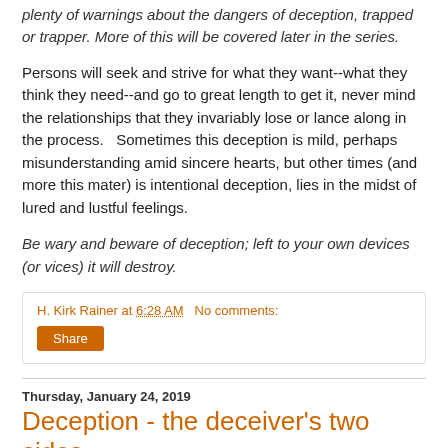plenty of warnings about the dangers of deception, trapped or trapper. More of this will be covered later in the series.
Persons will seek and strive for what they want--what they think they need--and go to great length to get it, never mind the relationships that they invariably lose or lance along in the process.   Sometimes this deception is mild, perhaps misunderstanding amid sincere hearts, but other times (and more this mater) is intentional deception, lies in the midst of lured and lustful feelings.
Be wary and beware of deception; left to your own devices (or vices) it will destroy.
H. Kirk Rainer at 6:28 AM   No comments:
Share
Thursday, January 24, 2019
Deception - the deceiver's two sides